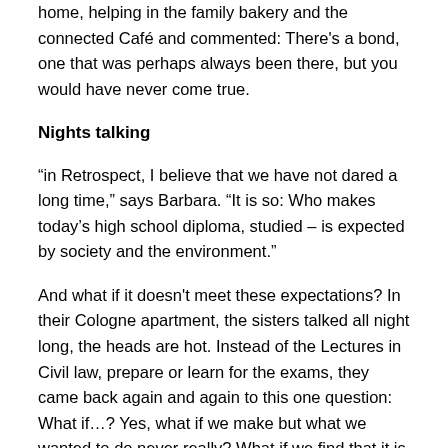home, helping in the family bakery and the connected Café and commented: There's a bond, one that was perhaps always been there, but you would have never come true.
Nights talking
“in Retrospect, I believe that we have not dared a long time,” says Barbara. “It is so: Who makes today’s high school diploma, studied – is expected by society and the environment.”
And what if it doesn't meet these expectations? In their Cologne apartment, the sisters talked all night long, the heads are hot. Instead of the Lectures in Civil law, prepare or learn for the exams, they came back again and again to this one question: What if…? Yes, what if we make but what we wanted to do never really? What if we find that it is Best for